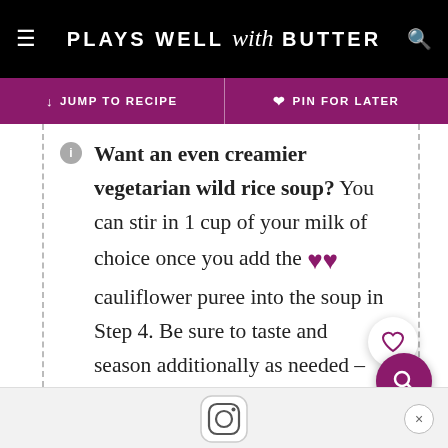PLAYS WELL with BUTTER
JUMP TO RECIPE | PIN FOR LATER
Want an even creamier vegetarian wild rice soup? You can stir in 1 cup of your milk of choice once you add the cauliflower puree into the soup in Step 4. Be sure to taste and season additionally as needed – the creaminess of extra milk will beg for another pinch or two of salt!